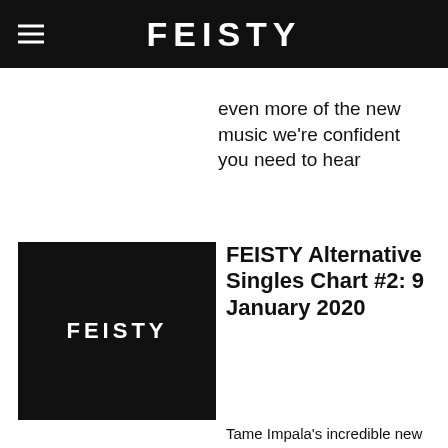FEISTY
even more of the new music we're confident you need to hear
[Figure (logo): FEISTY logo: white bold text on black background]
FEISTY Alternative Singles Chart #2: 9 January 2020
Tame Impala's incredible new single and tracks from Joywave, Wolf Parade and Dream Nails are among the new entries to this week's chart